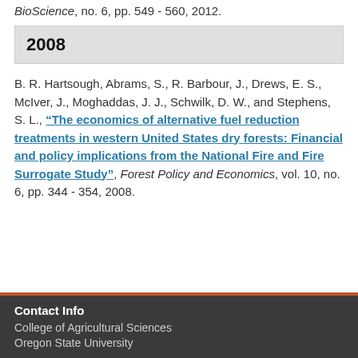BioScience, no. 6, pp. 549 - 560, 2012.
2008
B. R. Hartsough, Abrams, S., R. Barbour, J., Drews, E. S., McIver, J., Moghaddas, J. J., Schwilk, D. W., and Stephens, S. L., “The economics of alternative fuel reduction treatments in western United States dry forests: Financial and policy implications from the National Fire and Fire Surrogate Study”, Forest Policy and Economics, vol. 10, no. 6, pp. 344 - 354, 2008.
Contact Info
College of Agricultural Sciences
Oregon State University